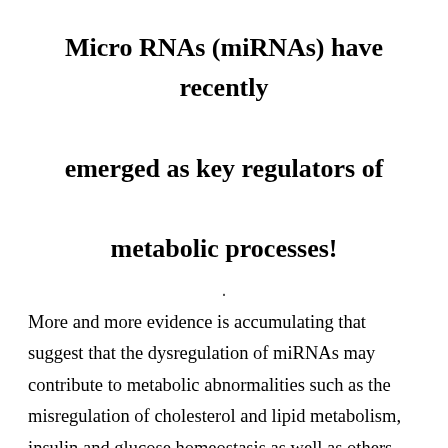Micro RNAs (miRNAs) have recently emerged as key regulators of metabolic processes!
. More and more evidence is accumulating that suggest that the dysregulation of miRNAs may contribute to metabolic abnormalities such as the misregulation of cholesterol and lipid metabolism, insulin and glucose homeostasis as well as others that may still need to be to discovered. The proper control of metabolic